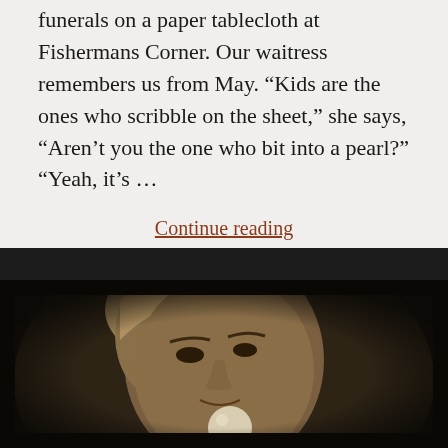funerals on a paper tablecloth at Fishermans Corner. Our waitress remembers us from May. “Kids are the ones who scribble on the sheet,” she says, “Aren’t you the one who bit into a pearl?” “Yeah, it’s …
Continue reading
[Figure (photo): Sepia-toned vintage photograph of a person’s face in close-up, looking slightly upward, with what appears to be a round white object (pearl or ball) held near their chin. The image has a dark oval vignette border on a dark background.]